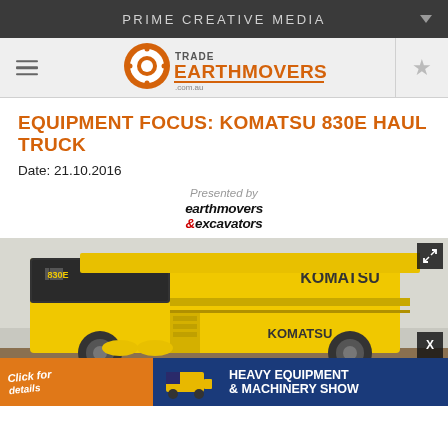PRIME CREATIVE MEDIA
[Figure (logo): Trade Earthmovers logo with navigation bar including hamburger menu and star icon]
EQUIPMENT FOCUS: KOMATSU 830E HAUL TRUCK
Date: 21.10.2016
Presented by earthmovers &excavators
[Figure (photo): Komatsu 830E haul truck, large yellow mining dump truck with KOMATSU branding on the front. An advertisement banner at the bottom reads HEAVY EQUIPMENT & MACHINERY SHOW with a close button X.]